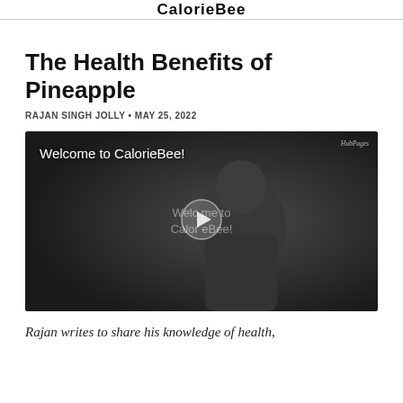CalorieBee
The Health Benefits of Pineapple
RAJAN SINGH JOLLY • MAY 25, 2022
[Figure (screenshot): Video thumbnail showing a man in a dark jacket with text 'Welcome to CalorieBee!' overlaid, with a play button in the center. HubPages watermark in top right corner.]
Rajan writes to share his knowledge of health,